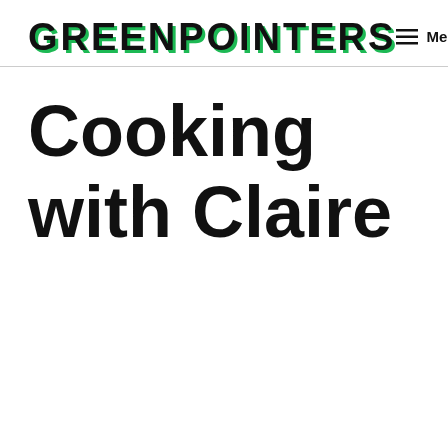GREENPOINTERS
Menu
Cooking with Claire